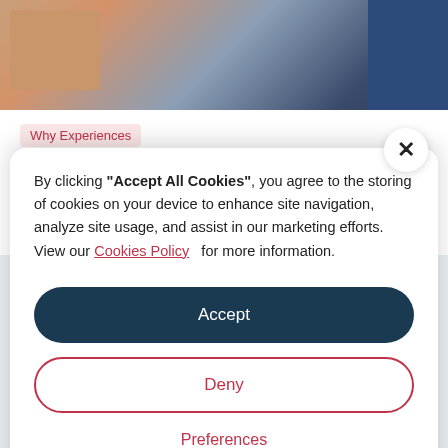[Figure (photo): Partial photo of people lying down, showing arms and clothing in warm and cool tones]
Why Experiences
How To Stay Well And Inspired At Home
By clicking "Accept All Cookies", you agree to the storing of cookies on your device to enhance site navigation, analyze site usage, and assist in our marketing efforts. View our Cookies Policy for more information.
Accept
Deny
Preferences